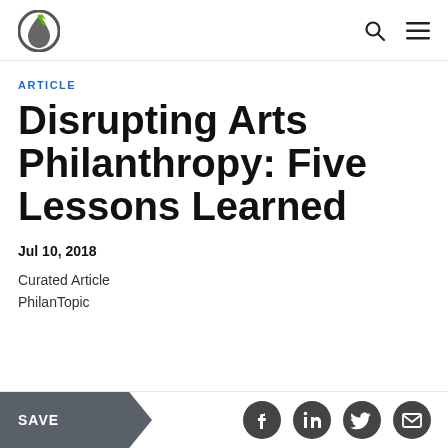ARTICLE
Disrupting Arts Philanthropy: Five Lessons Learned
Jul 10, 2018
Curated Article
PhilanTopic